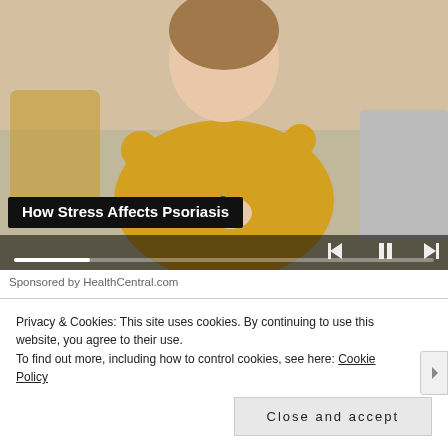[Figure (photo): Woman in yellow sweater sitting on a couch scratching her arm, with video player controls (previous, pause, next) and a progress bar overlaid at the bottom of the image.]
How Stress Affects Psoriasis
Sponsored by HealthCentral.com
[Figure (photo): Thumbnail image of a grocery store interior with shoppers and colorful product displays.]
$900 Grocery Allowance For
Privacy & Cookies: This site uses cookies. By continuing to use this website, you agree to their use.
To find out more, including how to control cookies, see here: Cookie Policy
Close and accept